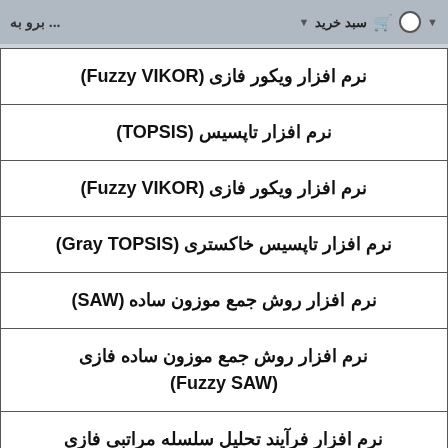برو به ... | سبد خرید
نرم افزار ویکور فازی (Fuzzy VIKOR)
نرم افزار تاپسیس (TOPSIS)
نرم افزار ویکور فازی (Fuzzy VIKOR)
نرم افزار تاپسیس خاکستری (Gray TOPSIS)
نرم افزار روش جمع موزون ساده (SAW)
نرم افزار روش جمع موزون ساده فازی (Fuzzy SAW)
نرم افزار فرآیند تحلیل سلسله مراتبی فازی (FUZZY AHP)